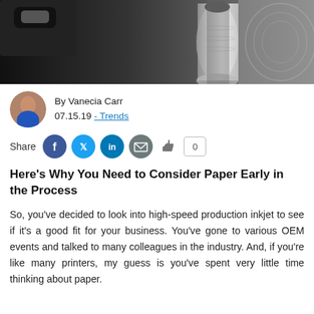[Figure (photo): Black and white close-up photo of a paper roll on an industrial printing machine]
By Vanecia Carr
07.15.19 - Trends
Share [Facebook] [Twitter] [LinkedIn] [Email] [Like] 0
Here’s Why You Need to Consider Paper Early in the Process
So, you’ve decided to look into high-speed production inkjet to see if it’s a good fit for your business. You’ve gone to various OEM events and talked to many colleagues in the industry. And, if you’re like many printers, my guess is you’ve spent very little time thinking about paper.